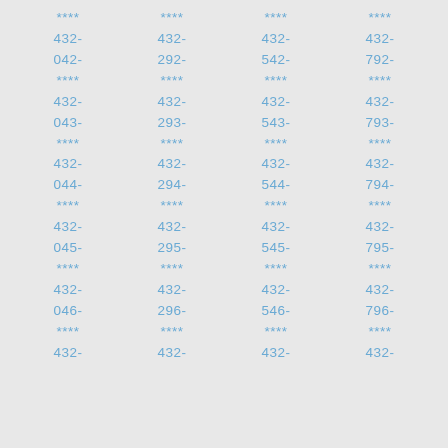****
432-
042-
****
432-
043-
****
432-
044-
****
432-
045-
****
432-
046-
****
432-
****
432-
292-
****
432-
293-
****
432-
294-
****
432-
295-
****
432-
296-
****
432-
****
432-
542-
****
432-
543-
****
432-
544-
****
432-
545-
****
432-
546-
****
432-
****
432-
792-
****
432-
793-
****
432-
794-
****
432-
795-
****
432-
796-
****
432-